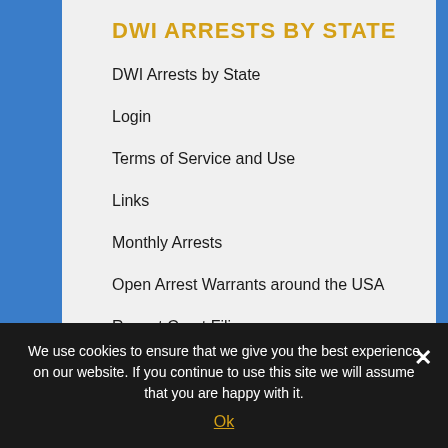DWI ARRESTS BY STATE
DWI Arrests by State
Login
Terms of Service and Use
Links
Monthly Arrests
Open Arrest Warrants around the USA
Recent Court Filings
Opioid Overdoses
10th Year Anniversary DWI Hit Parade
We use cookies to ensure that we give you the best experience on our website. If you continue to use this site we will assume that you are happy with it.
Ok